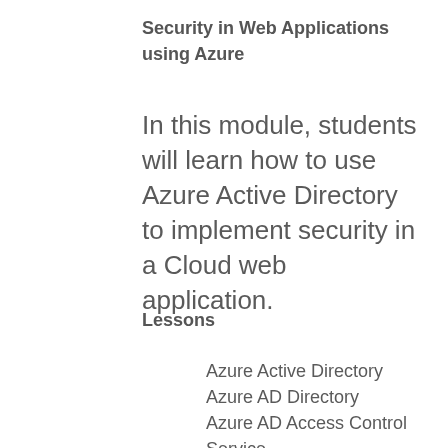Security in Web Applications
using Azure
In this module, students will learn how to use Azure Active Directory to implement security in a Cloud web application.
Lessons
Azure Active Directory
Azure AD Directory
Azure AD Access Control Service
Azure AD Multi-Factor